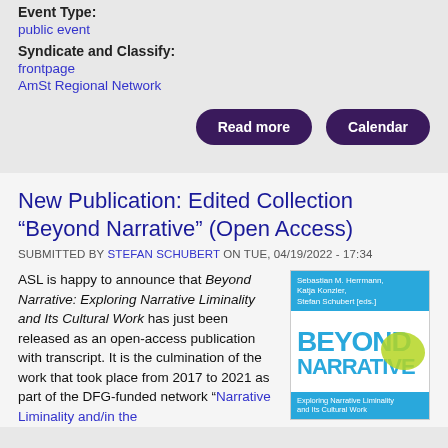Event Type:
public event
Syndicate and Classify:
frontpage
AmSt Regional Network
Read more
Calendar
New Publication: Edited Collection “Beyond Narrative” (Open Access)
SUBMITTED BY STEFAN SCHUBERT ON TUE, 04/19/2022 - 17:34
ASL is happy to announce that Beyond Narrative: Exploring Narrative Liminality and Its Cultural Work has just been released as an open-access publication with transcript. It is the culmination of the work that took place from 2017 to 2021 as part of the DFG-funded network “Narrative Liminality and/in the
[Figure (illustration): Book cover of 'Beyond Narrative: Exploring Narrative Liminality and Its Cultural Work' edited by Sebastian M. Herrmann, Katja Konzler, Stefan Schubert. Blue and white design with large cyan text 'BEYOND NARRATIVE' and a green splash graphic.]